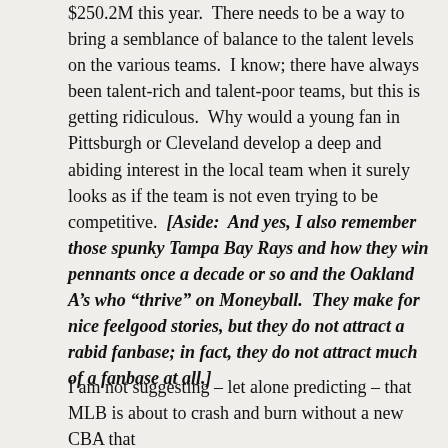$250.2M this year.  There needs to be a way to bring a semblance of balance to the talent levels on the various teams.  I know; there have always been talent-rich and talent-poor teams, but this is getting ridiculous.  Why would a young fan in Pittsburgh or Cleveland develop a deep and abiding interest in the local team when it surely looks as if the team is not even trying to be competitive.  [Aside:  And yes, I also remember those spunky Tampa Bay Rays and how they win pennants once a decade or so and the Oakland A's who “thrive” on Moneyball.  They make for nice feelgood stories, but they do not attract a rabid fanbase; in fact, they do not attract much of a fanbase at all.]
I am not suggesting – let alone predicting – that MLB is about to crash and burn without a new CBA that